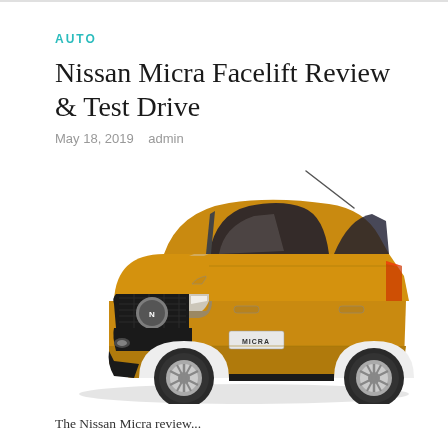AUTO
Nissan Micra Facelift Review & Test Drive
May 18, 2019   admin
[Figure (photo): Orange/yellow Nissan Micra facelift hatchback car shown in a 3/4 front view against a white background, with a radio antenna visible at the top.]
The Nissan Micra review...